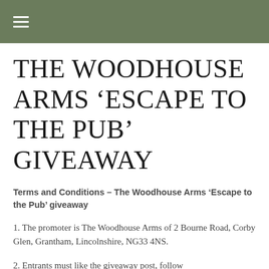☰ (hamburger menu icon)
THE WOODHOUSE ARMS ‘ESCAPE TO THE PUB’ GIVEAWAY
Terms and Conditions – The Woodhouse Arms ‘Escape to the Pub’ giveaway
1. The promoter is The Woodhouse Arms of 2 Bourne Road, Corby Glen, Grantham, Lincolnshire, NG33 4NS.
2. Entrants must like the giveaway post, follow